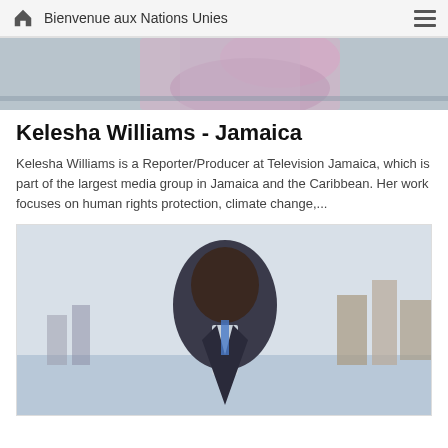Bienvenue aux Nations Unies
[Figure (photo): Partial photo of a person in a floral outfit, cropped at top of page]
Kelesha Williams - Jamaica
Kelesha Williams is a Reporter/Producer at Television Jamaica, which is part of the largest media group in Jamaica and the Caribbean. Her work focuses on human rights protection, climate change,...
[Figure (photo): Man in a dark suit with a lanyard, standing outdoors with a city skyline and river in the background]